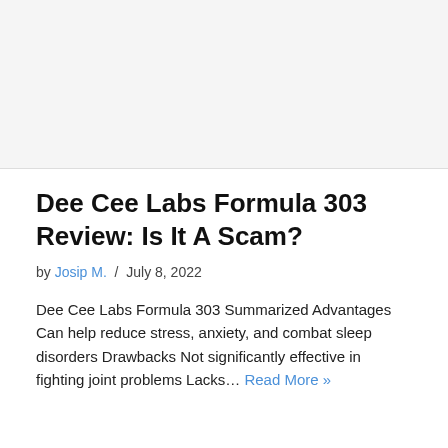[Figure (other): Blank/white image placeholder area at top of page]
Dee Cee Labs Formula 303 Review: Is It A Scam?
by Josip M.  /  July 8, 2022
Dee Cee Labs Formula 303 Summarized Advantages Can help reduce stress, anxiety, and combat sleep disorders Drawbacks Not significantly effective in fighting joint problems Lacks… Read More »